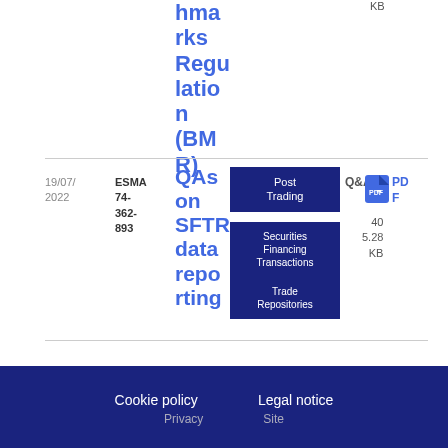KB
hmarks Regulation (BMR)
| Date | Reference | Title | Topics | Type | Download |
| --- | --- | --- | --- | --- | --- |
| 19/07/2022 | ESMA 74-362-893 | QAs on SFTR data reporting | Post Trading | Securities Financing Transactions | Trade Repositories | Q&A | PDF 405.28 KB |
Cookie policy   Legal notice
Privacy   Site